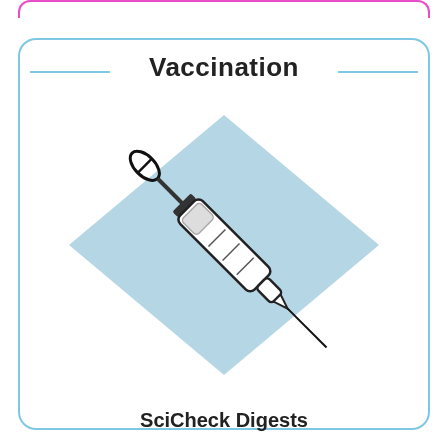Vaccination
[Figure (illustration): A syringe/needle illustration displayed diagonally on a blue diamond/rhombus background, representing vaccination]
SciCheck Digests